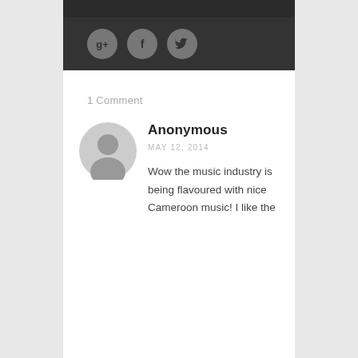[Figure (other): Dark bar with three social media icon circles: Google+, Facebook, Twitter]
1 Comment
[Figure (other): Anonymous user avatar - circular grey silhouette icon]
Anonymous
MAY 12, 2014
Wow the music industry is being flavoured with nice Cameroon music! I like the